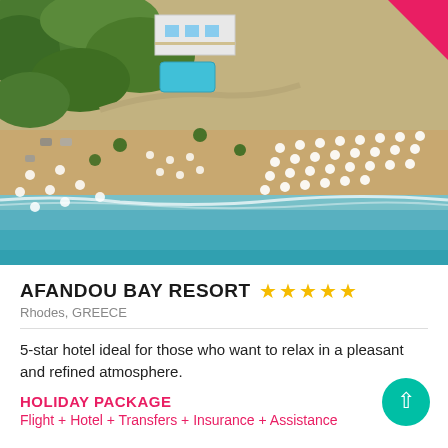[Figure (photo): Aerial photograph of Afandou Bay Resort showing beach with sun loungers and umbrellas arranged in rows on sandy beach, with resort buildings and green vegetation visible inland, and turquoise sea waters meeting the shoreline.]
AFANDOU BAY RESORT ★★★★★
Rhodes, GREECE
5-star hotel ideal for those who want to relax in a pleasant and refined atmosphere.
HOLIDAY PACKAGE
Flight + Hotel + Transfers + Insurance + Assistance